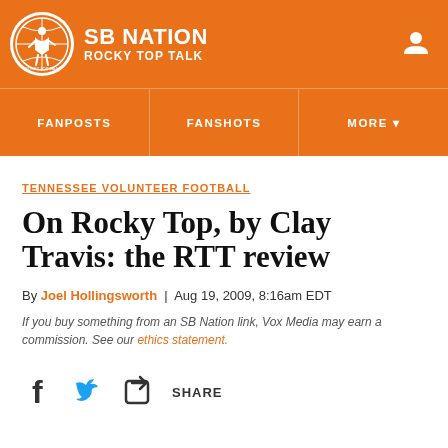SB NATION | ROCKY TOP TALK
FANPOSTS | FANSHOTS | MORE
TENNESSEE VOLUNTEER FOOTBALL
On Rocky Top, by Clay Travis: the RTT review
By Joel Hollingsworth | Aug 19, 2009, 8:16am EDT
If you buy something from an SB Nation link, Vox Media may earn a commission. See our ethics statement.
SHARE